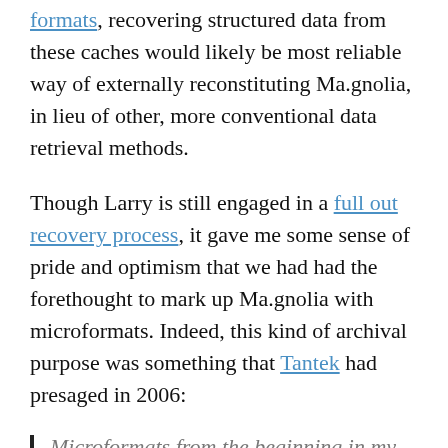formats, recovering structured data from these caches would likely be most reliable way of externally reconstituting Ma.gnolia, in lieu of other, more conventional data retrieval methods.
Though Larry is still engaged in a full out recovery process, it gave me some sense of pride and optimism that we had had the forethought to mark up Ma.gnolia with microformats. Indeed, this kind of archival purpose was something that Tantek had presaged in 2006:
Microformats from the beginning in my mind are serving two very important